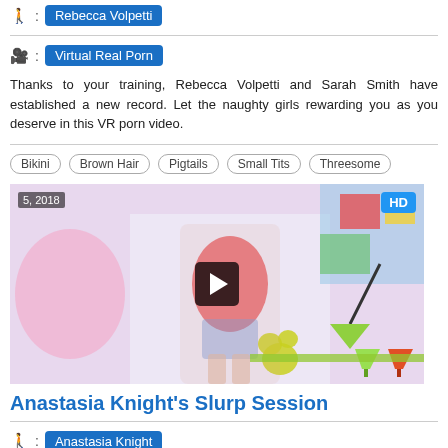👤 : Rebecca Volpetti
🎥 : Virtual Real Porn
Thanks to your training, Rebecca Volpetti and Sarah Smith have established a new record. Let the naughty girls rewarding you as you deserve in this VR porn video.
Bikini  Brown Hair  Pigtails  Small Tits  Threesome
[Figure (photo): Video thumbnail showing a woman in red top and denim overalls in a colorful studio setting, with date badge '5, 2018' top left and 'HD' badge top right, and a play button in the center.]
Anastasia Knight's Slurp Session
👤 : Anastasia Knight
🎥 : Swallowed
Braces cutie Anastasia Knight loves to suck cocks. In this Swallowed porn